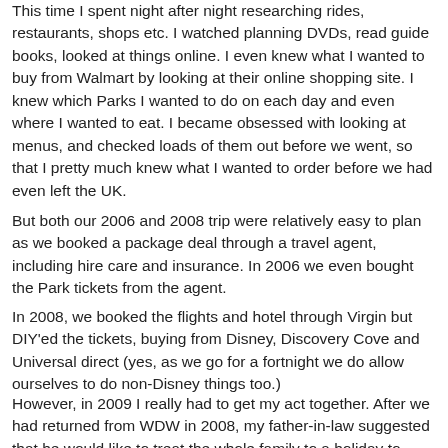This time I spent night after night researching rides, restaurants, shops etc. I watched planning DVDs, read guide books, looked at things online. I even knew what I wanted to buy from Walmart by looking at their online shopping site. I knew which Parks I wanted to do on each day and even where I wanted to eat. I became obsessed with looking at menus, and checked loads of them out before we went, so that I pretty much knew what I wanted to order before we had even left the UK.
But both our 2006 and 2008 trip were relatively easy to plan as we booked a package deal through a travel agent, including hire care and insurance. In 2006 we even bought the Park tickets from the agent.
In 2008, we booked the flights and hotel through Virgin but DIY'ed the tickets, buying from Disney, Discovery Cove and Universal direct (yes, as we go for a fortnight we do allow ourselves to do non-Disney things too.)
However, in 2009 I really had to get my act together. After we had returned from WDW in 2008, my father-in-law suggested that he would like to treat the whole family to a holiday to